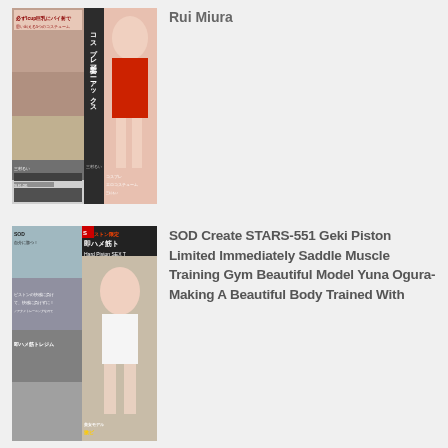[Figure (photo): DVD cover image - Japanese adult video with cheerleader theme, Rui Miura]
Rui Miura
[Figure (photo): DVD cover image - SOD Create STARS-551 Geki Piston Limited gym/fitness theme]
SOD Create STARS-551 Geki Piston Limited Immediately Saddle Muscle Training Gym Beautiful Model Yuna Ogura-Making A Beautiful Body Trained With